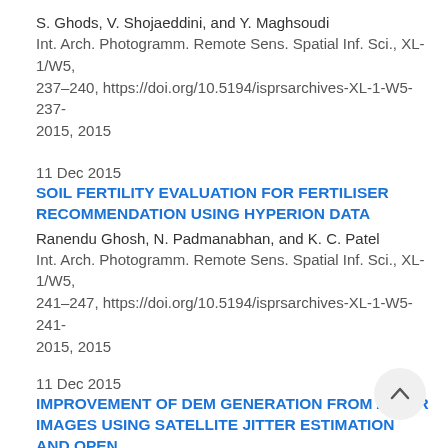S. Ghods, V. Shojaeddini, and Y. Maghsoudi
Int. Arch. Photogramm. Remote Sens. Spatial Inf. Sci., XL-1/W5, 237–240, https://doi.org/10.5194/isprsarchives-XL-1-W5-237-2015, 2015
11 Dec 2015
SOIL FERTILITY EVALUATION FOR FERTILISER RECOMMENDATION USING HYPERION DATA
Ranendu Ghosh, N. Padmanabhan, and K. C. Patel
Int. Arch. Photogramm. Remote Sens. Spatial Inf. Sci., XL-1/W5, 241–247, https://doi.org/10.5194/isprsarchives-XL-1-W5-241-2015, 2015
11 Dec 2015
IMPROVEMENT OF DEM GENERATION FROM ASTER IMAGES USING SATELLITE JITTER ESTIMATION AND OPEN SOURCE IMPLEMENTATION
L. Girod, C. Nuth, and A. Kääb